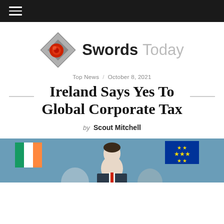☰ (navigation menu icon)
[Figure (logo): Swords Today logo: a diamond/rhombus shaped icon in grey with a red circular element inside, beside the text 'Swords Today' where 'Swords' is in dark grey/black and 'Today' is in light grey]
Top News  /  October 8, 2021
Ireland Says Yes To Global Corporate Tax
by Scout Mitchell
[Figure (photo): Partial photo showing a person (likely an Irish official) with an Irish flag and EU flag visible in the background, against a blue-green backdrop]